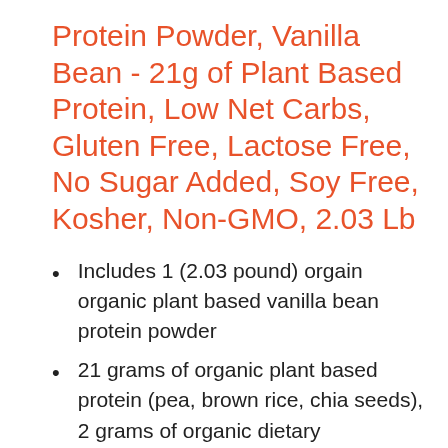Protein Powder, Vanilla Bean - 21g of Plant Based Protein, Low Net Carbs, Gluten Free, Lactose Free, No Sugar Added, Soy Free, Kosher, Non-GMO, 2.03 Lb
Includes 1 (2.03 pound) orgain organic plant based vanilla bean protein powder
21 grams of organic plant based protein (pea, brown rice, chia seeds), 2 grams of organic dietary